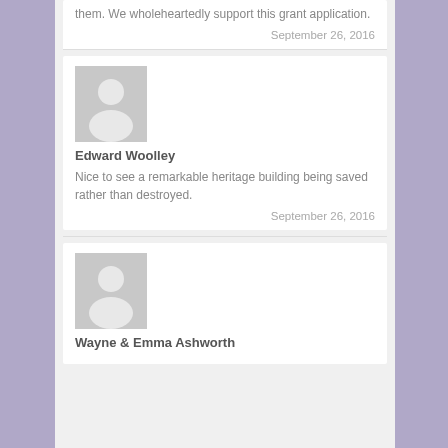them. We wholeheartedly support this grant application.
September 26, 2016
[Figure (illustration): Generic user avatar placeholder (gray silhouette on gray background) for Edward Woolley]
Edward Woolley
Nice to see a remarkable heritage building being saved rather than destroyed.
September 26, 2016
[Figure (illustration): Generic user avatar placeholder (gray silhouette on gray background) for Wayne & Emma Ashworth]
Wayne & Emma Ashworth